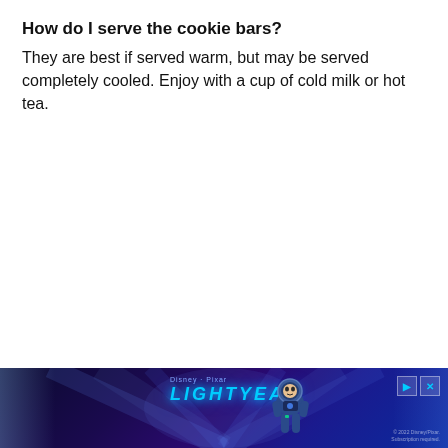How do I serve the cookie bars?
They are best if served warm, but may be served completely cooled. Enjoy with a cup of cold milk or hot tea.
[Figure (illustration): Advertisement banner for Disney/Pixar Lightyear movie showing the character Buzz Lightyear in a space suit with blue light rays emanating from behind, the Lightyear logo in glowing cyan text, and Disney Pixar branding. Subscription required note at bottom right. Play and close buttons at top right.]